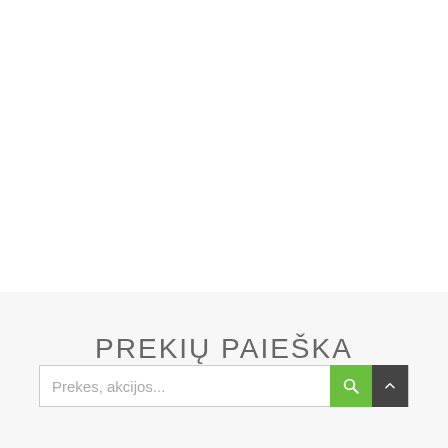PREKIŲ PAIEŠKA
Prekes, akcijos...